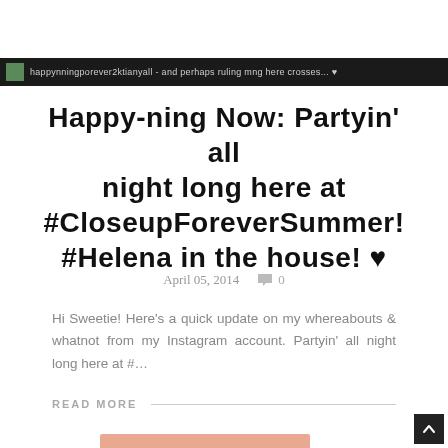happyningporever2ktianyall - and perhaps ruling here crosses...
Happy-ning Now: Partyin' all night long here at #CloseupForeverSummer! #Helena in the house! ♥
April 05, 2014   💬 0
Hi Sweetie! Here's a quick update on my whereabouts & whatnot from my Instagram account. Partyin' all night long here at #...
READ MORE